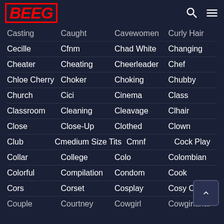BEEG
Casting   Caught   Cavewomen   Curly Hair
Cecille   Cfnm   Chad White   Changing
Cheater   Cheating   Cheerleader   Chef
Chloe Cherry   Choker   Choking   Chubby
Church   Cici   Cinema   Class
Classroom   Cleaning   Cleavage   Clhair
Close   Close-Up   Clothed   Clown
Club   Cmedium Size Tits   Cmnf   Cock Play
Collar   College   Colo   Colombian
Colorful   Compilation   Condom   Cook
Cors   Corset   Cosplay   Cosy Chat
Couple   Courtney   Cowgirl   Cowgirlanal